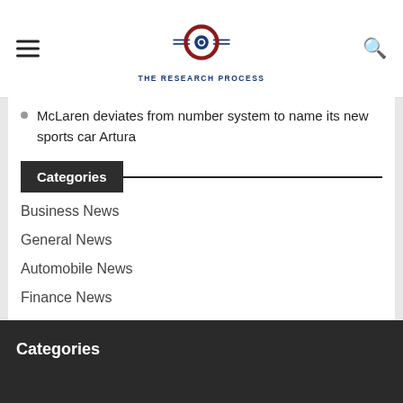THE RESEARCH PROCESS
McLaren deviates from number system to name its new sports car Artura
Categories
Business News
General News
Automobile News
Finance News
Technology News
Categories